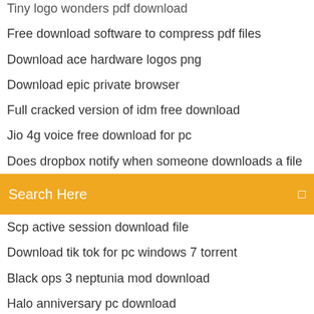Tiny logo wonders pdf download
Free download software to compress pdf files
Download ace hardware logos png
Download epic private browser
Full cracked version of idm free download
Jio 4g voice free download for pc
Does dropbox notify when someone downloads a file
Search Here
Scp active session download file
Download tik tok for pc windows 7 torrent
Black ops 3 neptunia mod download
Halo anniversary pc download
Pdanet apk full version download
Top ten free music download apps
Tennis titans free download full version for pc
Es file explorer on downloader for sheild
How to download new app on lg tv
When can i download spider man ps4
When to download...